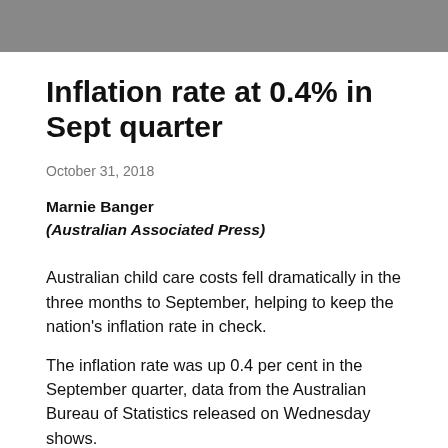[Figure (photo): Grayscale photograph at the top of the page, partially cropped, showing an indistinct scene.]
Inflation rate at 0.4% in Sept quarter
October 31, 2018
Marnie Banger
(Australian Associated Press)
Australian child care costs fell dramatically in the three months to September, helping to keep the nation's inflation rate in check.
The inflation rate was up 0.4 per cent in the September quarter, data from the Australian Bureau of Statistics released on Wednesday shows.